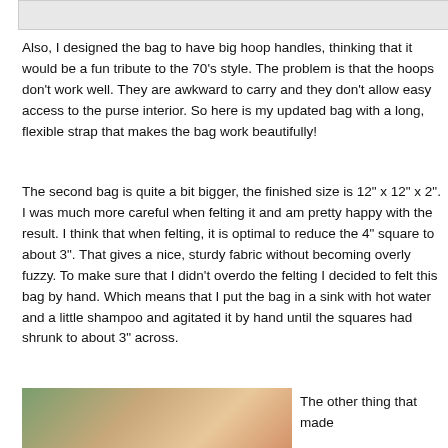[Figure (photo): Partial photo visible at top of page, cropped]
Also, I designed the bag to have big hoop handles, thinking that it would be a fun tribute to the 70's style. The problem is that the hoops don't work well. They are awkward to carry and they don't allow easy access to the purse interior. So here is my updated bag with a long, flexible strap that makes the bag work beautifully!
The second bag is quite a bit bigger, the finished size is 12" x 12" x 2". I was much more careful when felting it and am pretty happy with the result. I think that when felting, it is optimal to reduce the 4" square to about 3". That gives a nice, sturdy fabric without becoming overly fuzzy. To make sure that I didn't overdo the felting I decided to felt this bag by hand. Which means that I put the bag in a sink with hot water and a little shampoo and agitated it by hand until the squares had shrunk to about 3" across.
[Figure (photo): Photo of a bag outdoors with foliage in background, partially visible at bottom left]
The other thing that made